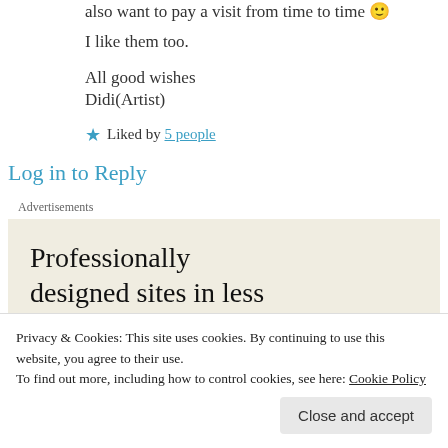also want to pay a visit from time to time 🙂
I like them too.
All good wishes
Didi(Artist)
★ Liked by 5 people
Log in to Reply
Advertisements
[Figure (screenshot): Advertisement banner with text 'Professionally designed sites in less']
Privacy & Cookies: This site uses cookies. By continuing to use this website, you agree to their use.
To find out more, including how to control cookies, see here: Cookie Policy